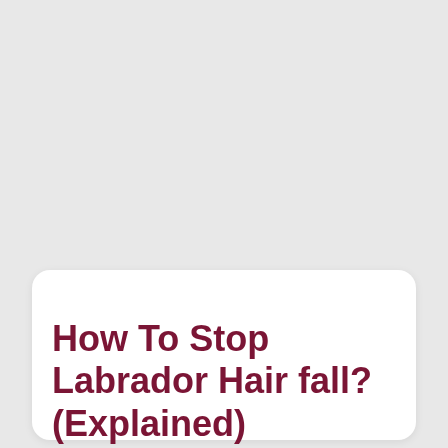How To Stop Labrador Hair fall? (Explained)